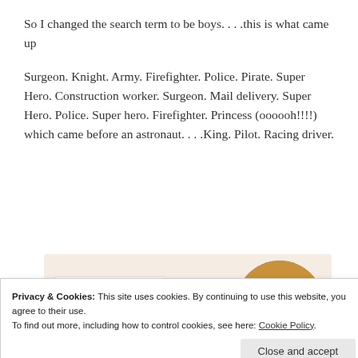So I changed the search term to be boys. . . .this is what came up
Surgeon. Knight. Army. Firefighter. Police. Pirate. Super Hero. Construction worker. Surgeon. Mail delivery. Super Hero. Police. Super hero. Firefighter. Princess (oooooh!!!!) which came before an astronaut. . . .King. Pilot. Racing driver.
[Figure (screenshot): A webpage advertisement or banner with text 'Let’s get started' on a light peach background, with a circular photo of a person using a laptop on the right side.]
Privacy & Cookies: This site uses cookies. By continuing to use this website, you agree to their use.
To find out more, including how to control cookies, see here: Cookie Policy
Close and accept